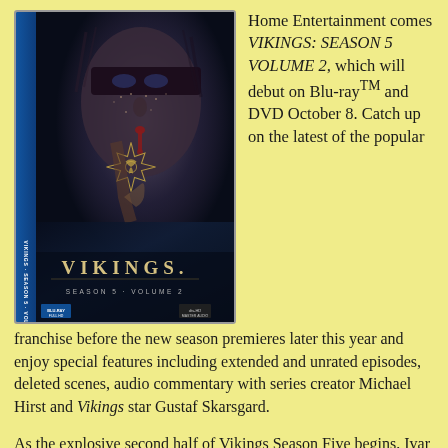[Figure (photo): DVD/Blu-ray box art for Vikings Season 5 Volume 2, showing a close-up of a warrior's face with dark facepaint and blood, with the VIKINGS logo in the center]
Home Entertainment comes VIKINGS: SEASON 5 VOLUME 2, which will debut on Blu-ray™ and DVD October 8. Catch up on the latest of the popular franchise before the new season premieres later this year and enjoy special features including extended and unrated episodes, deleted scenes, audio commentary with series creator Michael Hirst and Vikings star Gustaf Skarsgard.
As the explosive second half of Vikings Season Five begins, Ivar the Boneless' tyrannical reign as king of Kattegat ushers